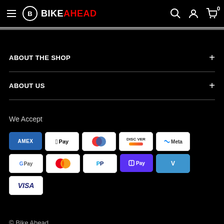BikeAhead - navigation header with hamburger menu, logo, search, account, and cart icons
ABOUT THE SHOP
ABOUT US
We Accept
[Figure (infographic): Payment method icons: AMEX, Apple Pay, Diners Club, Discover, Meta Pay, Google Pay, Mastercard, PayPal, Shop Pay, Venmo, Visa]
© Bike Ahead